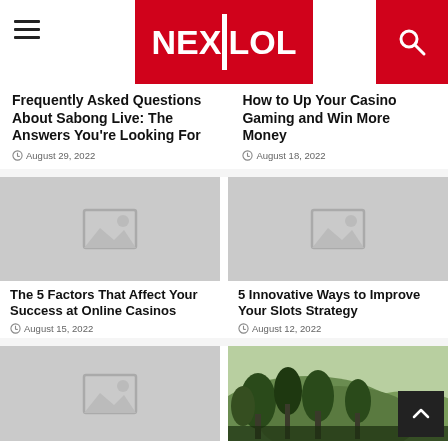NEXTLOL
Frequently Asked Questions About Sabong Live: The Answers You're Looking For
August 29, 2022
How to Up Your Casino Gaming and Win More Money
August 18, 2022
[Figure (photo): Placeholder image thumbnail for article]
The 5 Factors That Affect Your Success at Online Casinos
August 15, 2022
[Figure (photo): Placeholder image thumbnail for article]
5 Innovative Ways to Improve Your Slots Strategy
August 12, 2022
[Figure (photo): Placeholder image thumbnail for article]
[Figure (photo): Nature/outdoors photograph showing trees and hills]